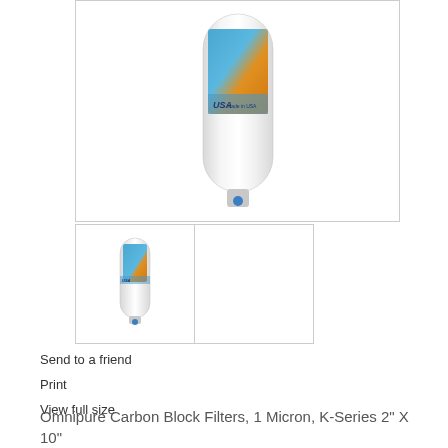[Figure (photo): Main product image of Omnipure carbon block inline water filter, white cylindrical body with blue and orange label, blue connector dot at bottom]
[Figure (photo): Thumbnail image of same Omnipure carbon block inline water filter]
[Figure (photo): Second thumbnail placeholder box, empty]
Send to a friend
Print
View full size
Omnipure Carbon Block Filters, 1 Micron, K-Series 2" X 10" (1/4" 90° Connection)